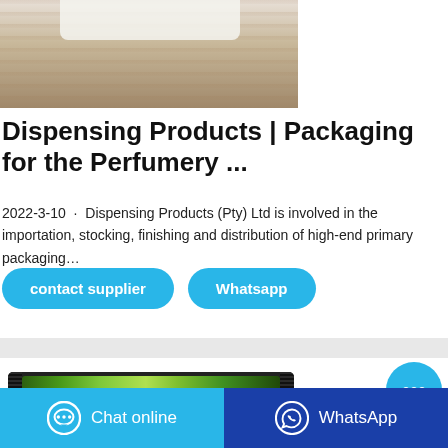[Figure (photo): Partial photo showing a wooden surface with what appears to be white towels or linens at the top]
Dispensing Products | Packaging for the Perfumery ...
2022-3-10 · Dispensing Products (Pty) Ltd is involved in the importation, stocking, finishing and distribution of high-end primary packaging…
contact supplier
Whatsapp
[Figure (photo): Green candy/snack bar product in packaging with black serrated edges on the sides, with text 'Pleasant, sweet, natural & refreshing']
[Figure (other): Blue circular chat bubble button with ellipsis (…) icon]
Chat online
WhatsApp